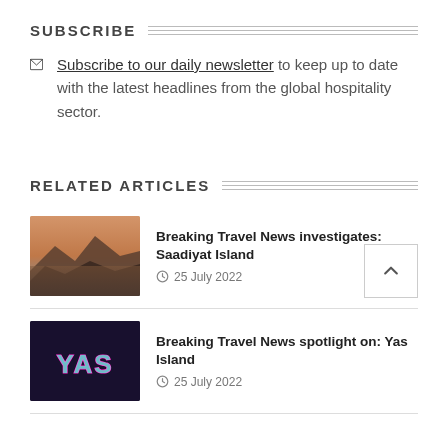SUBSCRIBE
Subscribe to our daily newsletter to keep up to date with the latest headlines from the global hospitality sector.
RELATED ARTICLES
Breaking Travel News investigates: Saadiyat Island
25 July 2022
Breaking Travel News spotlight on: Yas Island
25 July 2022